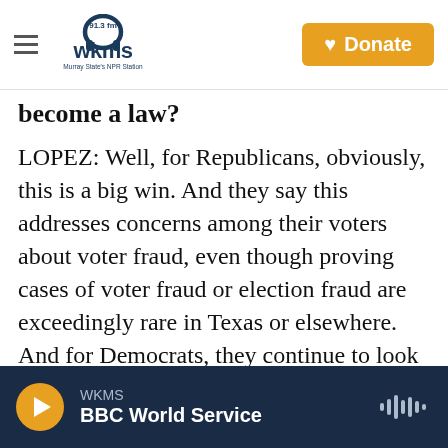WKMS 91.3 fm — Murray State's NPR Station | Donate
become a law?
LOPEZ: Well, for Republicans, obviously, this is a big win. And they say this addresses concerns among their voters about voter fraud, even though proving cases of voter fraud or election fraud are exceedingly rare in Texas or elsewhere. And for Democrats, they continue to look toward Congress for help to craft what they see as an overarching federal solution with voting standards. But activists and some election officials in Texas say they're worried about the effect this could
WKMS — BBC World Service